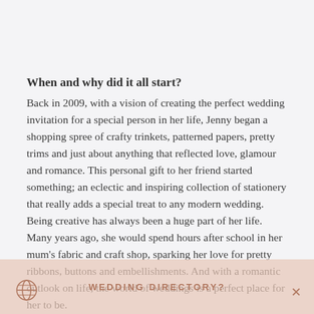When and why did it all start?
Back in 2009, with a vision of creating the perfect wedding invitation for a special person in her life, Jenny began a shopping spree of crafty trinkets, patterned papers, pretty trims and just about anything that reflected love, glamour and romance. This personal gift to her friend started something; an eclectic and inspiring collection of stationery that really adds a special treat to any modern wedding.
Being creative has always been a huge part of her life. Many years ago, she would spend hours after school in her mum's fabric and craft shop, sparking her love for pretty ribbons, buttons and embellishments. And with a romantic outlook on life, the world of weddings is a perfect place for her to be.
WEDDING DIRECTORY?